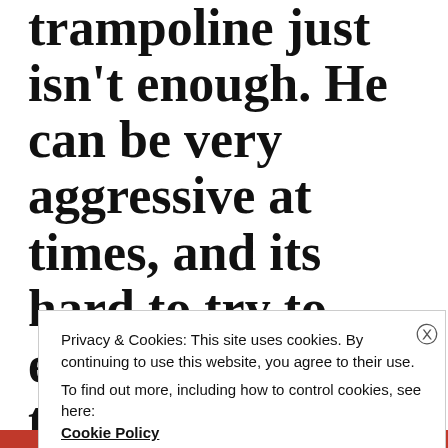trampoline just isn't enough. He can be very aggressive at times, and its hard to try to explain to him that he can't headbutt others or
Privacy & Cookies: This site uses cookies. By continuing to use this website, you agree to their use. To find out more, including how to control cookies, see here: Cookie Policy